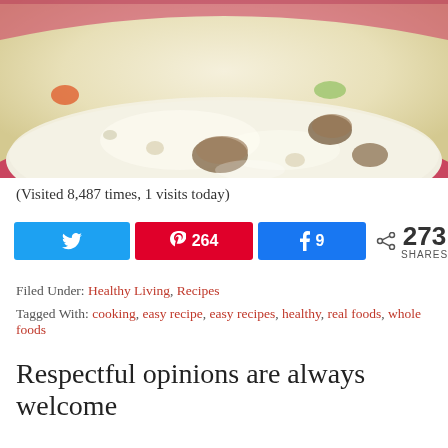[Figure (photo): Close-up photo of a creamy soup in a red/pink bowl with mushrooms, carrots, and vegetables visible]
(Visited 8,487 times, 1 visits today)
[Figure (infographic): Social share buttons: Twitter (no count), Pinterest (264), Facebook (9), and total 273 SHARES]
Filed Under: Healthy Living, Recipes
Tagged With: cooking, easy recipe, easy recipes, healthy, real foods, whole foods
Respectful opinions are always welcome